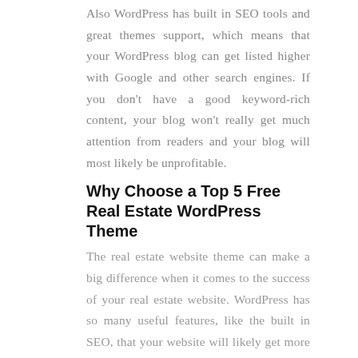Also WordPress has built in SEO tools and great themes support, which means that your WordPress blog can get listed higher with Google and other search engines. If you don't have a good keyword-rich content, your blog won't really get much attention from readers and your blog will most likely be unprofitable.
Why Choose a Top 5 Free Real Estate WordPress Theme
The real estate website theme can make a big difference when it comes to the success of your real estate website. WordPress has so many useful features, like the built in SEO, that your website will likely get more traffic than other similar websites out there on the Internet right now. One of